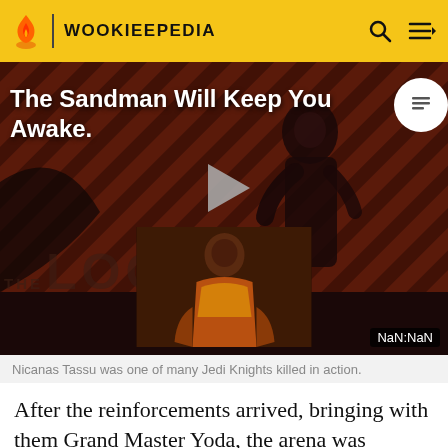WOOKIEEPEDIA
[Figure (screenshot): Wookieepedia video player showing 'The Sandman Will Keep You Awake' with a dark-robed figure against diagonal red/brown stripes. THE LOOP branding at bottom. Play button centered. NaN:NaN timestamp. Thumbnail of a figure in orange/brown robes visible at bottom center.]
Nicanas Tassu was one of many Jedi Knights killed in action.
After the reinforcements arrived, bringing with them Grand Master Yoda, the arena was abandoned. Clones and